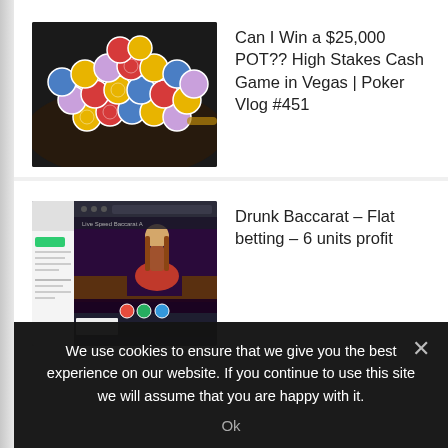[Figure (photo): Pile of colorful casino poker chips (red, yellow, blue, purple) scattered on a dark table surface]
Can I Win a $25,000 POT?? High Stakes Cash Game in Vegas | Poker Vlog #451
[Figure (screenshot): Screenshot of a live online baccarat game interface showing a female dealer in a red dress at a baccarat table, with a sidebar panel on the left and betting chips at the bottom]
Drunk Baccarat – Flat betting – 6 units profit
We use cookies to ensure that we give you the best experience on our website. If you continue to use this site we will assume that you are happy with it.
Ok